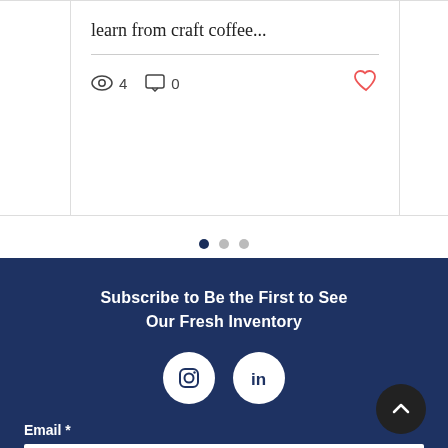learn from craft coffee...
[Figure (screenshot): Blog post card with title 'learn from craft coffee...', a divider line, view count of 4, comment count of 0, and a heart/like icon in red.]
[Figure (infographic): Carousel pagination dots: first dot filled dark, two dots grey.]
Subscribe to Be the First to See Our Fresh Inventory
[Figure (logo): Instagram and LinkedIn social media icons in white circles on dark blue background.]
Email *
e.g., email@example.com
SUBSCRIBE